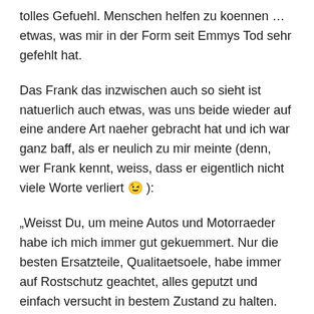tolles Gefuehl. Menschen helfen zu koennen … etwas, was mir in der Form seit Emmys Tod sehr gefehlt hat.
Das Frank das inzwischen auch so sieht ist natuerlich auch etwas, was uns beide wieder auf eine andere Art naeher gebracht hat und ich war ganz baff, als er neulich zu mir meinte (denn, wer Frank kennt, weiss, dass er eigentlich nicht viele Worte verliert 😉 ):
„Weisst Du, um meine Autos und Motorraeder habe ich mich immer gut gekuemmert. Nur die besten Ersatzteile, Qualitaetsoele, habe immer auf Rostschutz geachtet, alles geputzt und einfach versucht in bestem Zustand zu halten. Nicht nur um den Wert zu erhalten, sondern, dass sie auch so lange wie moeglich, so gut wie moeglich, funktionieren.
Meine Gesundheit und mein Koerper auf der anderen Seite,